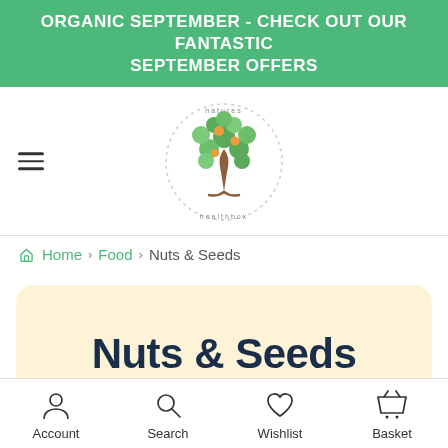ORGANIC SEPTEMBER - CHECK OUT OUR FANTASTIC SEPTEMBER OFFERS
[Figure (logo): Natures Healthbox logo - a tree made of green and orange circles with text 'natures healthbox' around it in a circle]
Home › Food › Nuts & Seeds
Nuts & Seeds
Account  Search  Wishlist  Basket